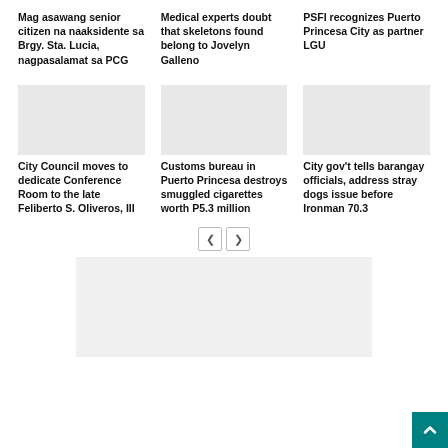Mag asawang senior citizen na naaksidente sa Brgy. Sta. Lucia, nagpasalamat sa PCG
Medical experts doubt that skeletons found belong to Jovelyn Galleno
PSFI recognizes Puerto Princesa City as partner LGU
[Figure (photo): Image placeholder for City Council article]
[Figure (photo): Image placeholder for Customs bureau article]
[Figure (photo): Image placeholder for City gov't article]
City Council moves to dedicate Conference Room to the late Feliberto S. Oliveros, III
Customs bureau in Puerto Princesa destroys smuggled cigarettes worth P5.3 million
City gov't tells barangay officials, address stray dogs issue before Ironman 70.3
[Figure (other): Advertisement placeholder box]